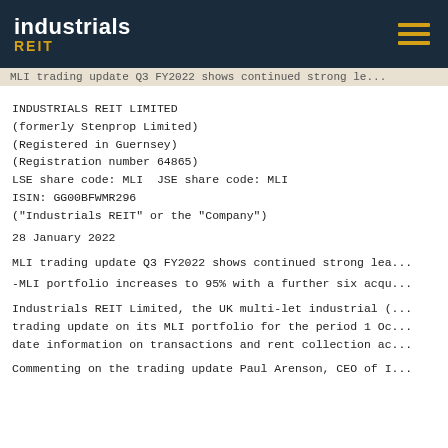MLI trading update Q3 FY2022 shows continued strong le...
INDUSTRIALS REIT LIMITED
(formerly Stenprop Limited)
(Registered in Guernsey)
(Registration number 64865)
LSE share code: MLI  JSE share code: MLI
ISIN: GG00BFWMR296
("Industrials REIT" or the "Company")
28 January 2022
MLI trading update Q3 FY2022 shows continued strong lea...
-MLI portfolio increases to 95% with a further six acqu...
Industrials REIT Limited, the UK multi-let industrial (...trading update on its MLI portfolio for the period 1 Oc...date information on transactions and rent collection ac...
Commenting on the trading update Paul Arenson, CEO of I...